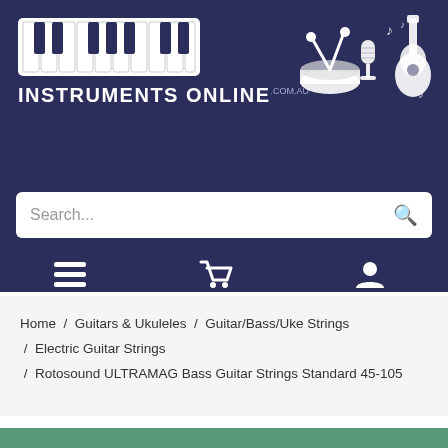[Figure (logo): Instruments Online .com.au logo with piano keys graphic and music instruments silhouette (drum, microphone, guitar)]
Search...
Menu   Cart (0)   Account
Home / Guitars & Ukuleles / Guitar/Bass/Uke Strings / Electric Guitar Strings / Rotosound ULTRAMAG Bass Guitar Strings Standard 45-105